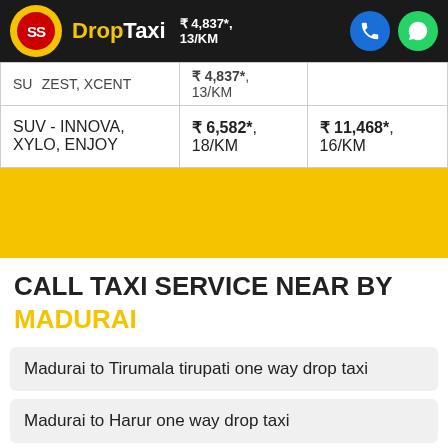SS DropTaxi | ₹ 4,837*, 13/KM | phone | whatsapp
| SUZEST, XCENT | ₹ 4,837*, 13/KM | ₹ ... |
| SUV - INNOVA, XYLO, ENJOY | ₹ 6,582*, 18/KM | ₹ 11,468*, 16/KM |
[Figure (other): Yellow banner strip]
CALL TAXI SERVICE NEAR BY MADURAI
Madurai to Tirumala tirupati one way drop taxi
Madurai to Harur one way drop taxi
Madurai to Pennadam online taxi booking